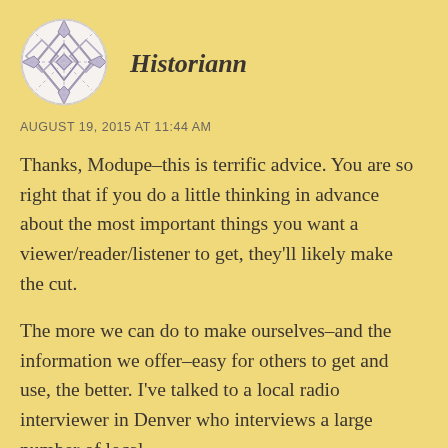[Figure (illustration): Circular avatar icon with geometric/diamond pattern in muted purple/grey tones on white background]
Historiann
AUGUST 19, 2015 AT 11:44 AM
Thanks, Modupe–this is terrific advice. You are so right that if you do a little thinking in advance about the most important things you want a viewer/reader/listener to get, they'll likely make the cut.
The more we can do to make ourselves–and the information we offer–easy for others to get and use, the better. I've talked to a local radio interviewer in Denver who interviews a large number of local